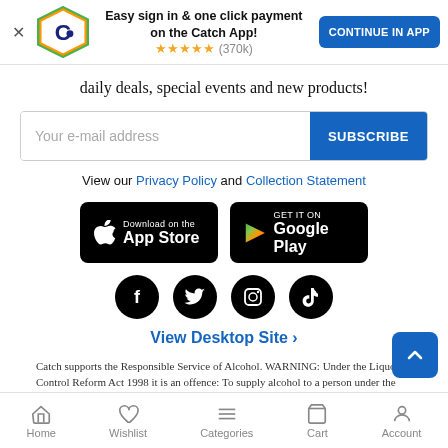[Figure (infographic): App download banner with Catch logo, text 'Easy sign in & one click payment on the Catch App!', 5-star rating (370k), and 'CONTINUE IN APP' button]
daily deals, special events and new products!
[Figure (infographic): Email subscription input field with placeholder 'Your e-mail address' and blue SUBSCRIBE button]
View our Privacy Policy and Collection Statement
[Figure (infographic): Download on the App Store button]
[Figure (infographic): GET IT ON Google Play button]
[Figure (infographic): Social media icons: Facebook, Twitter, Instagram, TikTok]
View Desktop Site ›
Catch supports the Responsible Service of Alcohol. WARNING: Under the Liquor Control Reform Act 1998 it is an offence: To supply alcohol to a person under the
Home  Wishlist  Categories  Cart  Account